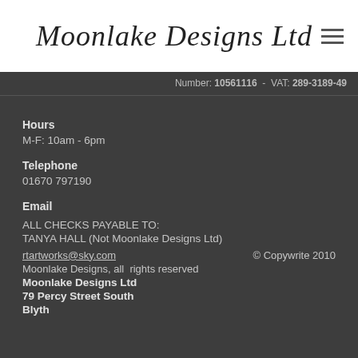Moonlake Designs Ltd
Number: 10561116  -  VAT: 289-3189-49
Hours
M-F: 10am - 6pm
Telephone
01670 797190
Email
ALL CHECKS PAYABLE TO:
TANYA HALL (Not Moonlake Designs Ltd)
rtartworks@sky.com   © Copywrite 2010
Moonlake Designs, all  rights reserved
Moonlake Designs Ltd
79 Percy Street South
Blyth